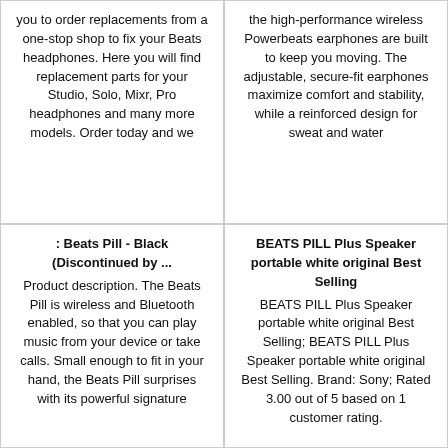you to order replacements from a one-stop shop to fix your Beats headphones. Here you will find replacement parts for your Studio, Solo, Mixr, Pro headphones and many more models. Order today and we
the high-performance wireless Powerbeats earphones are built to keep you moving. The adjustable, secure-fit earphones maximize comfort and stability, while a reinforced design for sweat and water
: Beats Pill - Black (Discontinued by ...
Product description. The Beats Pill is wireless and Bluetooth enabled, so that you can play music from your device or take calls. Small enough to fit in your hand, the Beats Pill surprises with its powerful signature
BEATS PILL Plus Speaker portable white original Best Selling
BEATS PILL Plus Speaker portable white original Best Selling; BEATS PILL Plus Speaker portable white original Best Selling. Brand: Sony; Rated 3.00 out of 5 based on 1 customer rating.